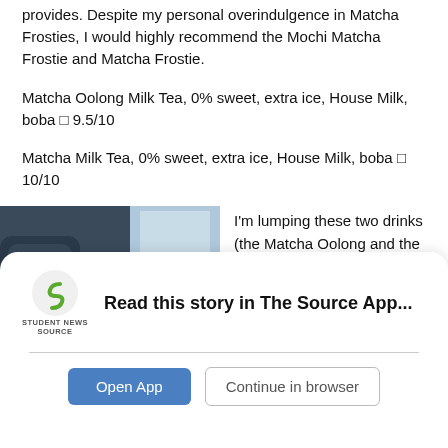provides. Despite my personal overindulgence in Matcha Frosties, I would highly recommend the Mochi Matcha Frostie and Matcha Frostie.
Matcha Oolong Milk Tea, 0% sweet, extra ice, House Milk, boba □ 9.5/10
Matcha Milk Tea, 0% sweet, extra ice, House Milk, boba □ 10/10
[Figure (photo): A hand holding a green matcha drink with Japanese characters on the cup, inside what appears to be a vehicle.]
I'm lumping these two drinks (the Matcha Oolong and the Matcha Milk Tea) together because they taste
Read this story in The Source App...
Open App
Continue in browser